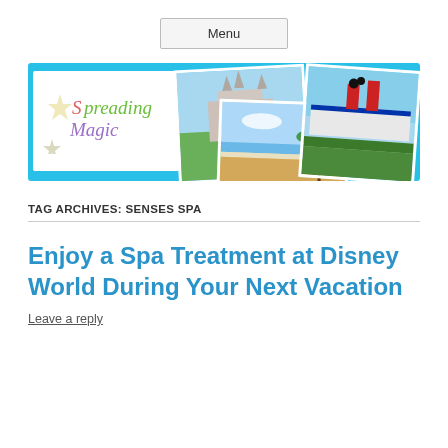Menu
[Figure (illustration): Spreading Magic blog banner with logo, Cinderella castle photo, beach photo, and cruise ship photo on a bright blue background]
TAG ARCHIVES: SENSES SPA
Enjoy a Spa Treatment at Disney World During Your Next Vacation
Leave a reply